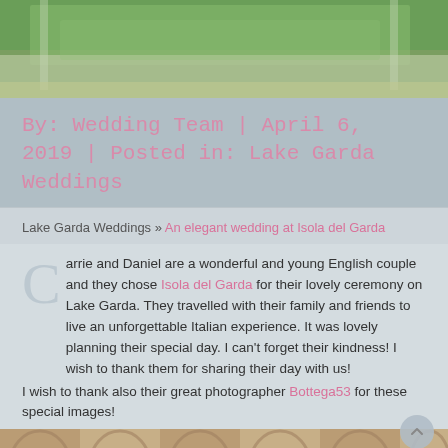[Figure (photo): Aerial or elevated view of a villa/garden with green hedges and stone balustrade railing, outdoor terrace setting.]
By: Wedding Team | April 6, 2019 | Posted in: Lake Garda Weddings
Lake Garda Weddings » An elegant wedding at Isola del Garda
Carrie and Daniel are a wonderful and young English couple and they chose Isola del Garda for their lovely ceremony on Lake Garda. They travelled with their family and friends to live an unforgettable Italian experience. It was lovely planning their special day. I can't forget their kindness! I wish to thank them for sharing their day with us!
I wish to thank also their great photographer Bottega53 for these special images!
[Figure (photo): Close-up architectural detail photo showing arched stone or decorative woodwork elements in warm beige/sand tones.]